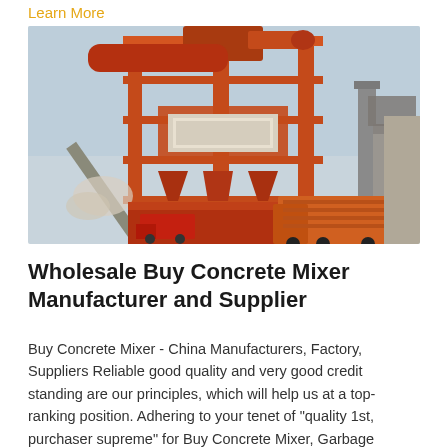Learn More
[Figure (photo): Large industrial asphalt mixing plant with orange steel frame structure, tanks, conveyor belts, and dump trucks in the foreground. Industrial outdoor setting with hazy sky.]
Wholesale Buy Concrete Mixer Manufacturer and Supplier
Buy Concrete Mixer - China Manufacturers, Factory, Suppliers Reliable good quality and very good credit standing are our principles, which will help us at a top-ranking position. Adhering to your tenet of "quality 1st, purchaser supreme" for Buy Concrete Mixer, Garbage